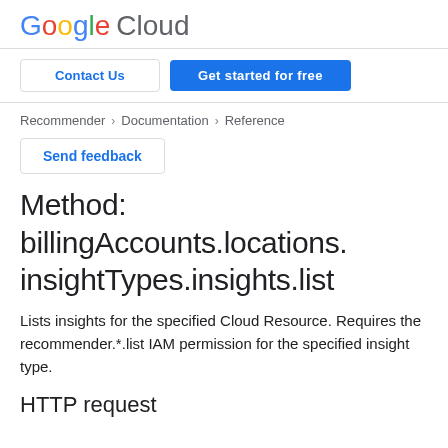[Figure (logo): Google Cloud logo with colorful Google text and gray Cloud text]
Contact Us
Get started for free
Recommender > Documentation > Reference
Send feedback
Method: billingAccounts.locations.insightTypes.insights.list
Lists insights for the specified Cloud Resource. Requires the recommender.*.list IAM permission for the specified insight type.
HTTP request